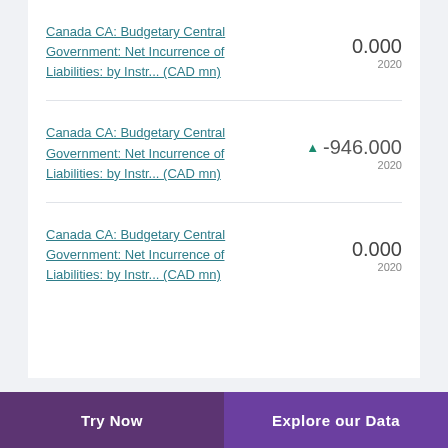Canada CA: Budgetary Central Government: Net Incurrence of Liabilities: by Instr... (CAD mn)
0.000 2020
Canada CA: Budgetary Central Government: Net Incurrence of Liabilities: by Instr... (CAD mn)
▲ -946.000 2020
Canada CA: Budgetary Central Government: Net Incurrence of Liabilities: by Instr... (CAD mn)
0.000 2020
Try Now    Explore our Data